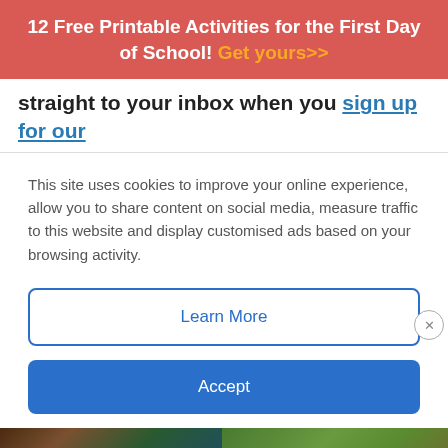12 Free Printable Activities for the First Day of School! Get yours>>
straight to your inbox when you sign up for our
This site uses cookies to improve your online experience, allow you to share content on social media, measure traffic to this website and display customised ads based on your browsing activity.
Learn More
Accept
[Figure (photo): Two photos side by side: left shows dark seaweed/hair close-up with green and blue tones; right shows a person standing on green grass from behind.]
hulu Disney+ ESPN+ GET THE DISNEY BUNDLE Incl. Hulu (ad-supported) or Hulu (No Ads). Access content from each service separately. ©2021 Disney and its related entities